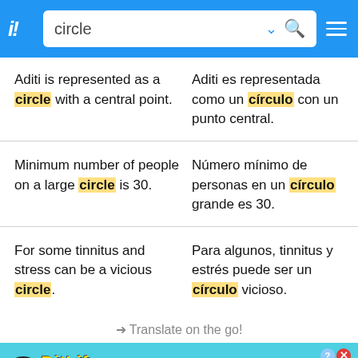circle
Aditi is represented as a circle with a central point. | Aditi es representada como un círculo con un punto central.
Minimum number of people on a large circle is 30. | Número mínimo de personas en un círculo grande es 30.
For some tinnitus and stress can be a vicious circle. | Para algunos, tinnitus y estrés puede ser un círculo vicioso.
→ Translate on the go!
[Figure (screenshot): BitLife advertisement banner with 'NOW WITH GOD MODE' text and a hand pointing graphic]